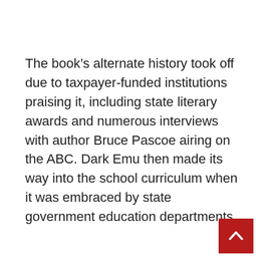The book's alternate history took off due to taxpayer-funded institutions praising it, including state literary awards and numerous interviews with author Bruce Pascoe airing on the ABC. Dark Emu then made its way into the school curriculum when it was embraced by state government education departments.
[Figure (other): Red square button with white upward-pointing chevron arrow (back-to-top navigation button)]